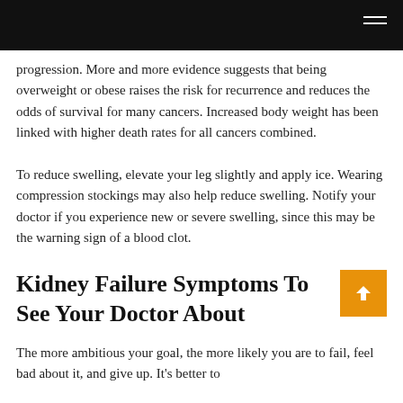progression. More and more evidence suggests that being overweight or obese raises the risk for recurrence and reduces the odds of survival for many cancers. Increased body weight has been linked with higher death rates for all cancers combined.
To reduce swelling, elevate your leg slightly and apply ice. Wearing compression stockings may also help reduce swelling. Notify your doctor if you experience new or severe swelling, since this may be the warning sign of a blood clot.
Kidney Failure Symptoms To See Your Doctor About
The more ambitious your goal, the more likely you are to fail, feel bad about it, and give up. It's better to